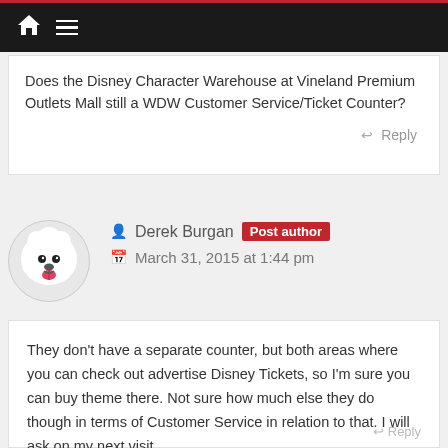Navigation bar with home and menu icons
Does the Disney Character Warehouse at Vineland Premium Outlets Mall still a WDW Customer Service/Ticket Counter?
Reply
Derek Burgan  Post author
March 31, 2015 at 1:44 pm
They don't have a separate counter, but both areas where you can check out advertise Disney Tickets, so I'm sure you can buy theme there. Not sure how much else they do though in terms of Customer Service in relation to that. I will ask on my next visit.
Reply